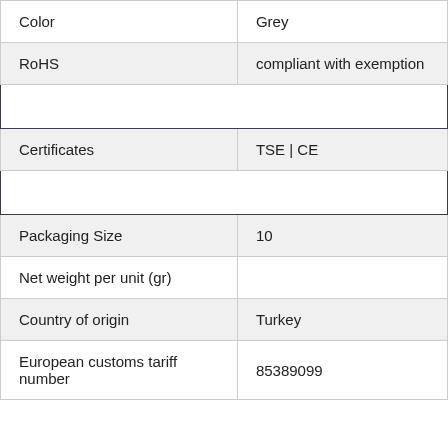| Property | Value |
| --- | --- |
| Color | Grey |
| RoHS | compliant with exemption |
| Certificateion: |  |
| Certificates | TSE | CE |
| Commercial Data: |  |
| Packaging Size | 10 |
| Net weight per unit (gr) |  |
| Country of origin | Turkey |
| European customs tariff number | 85389099 |